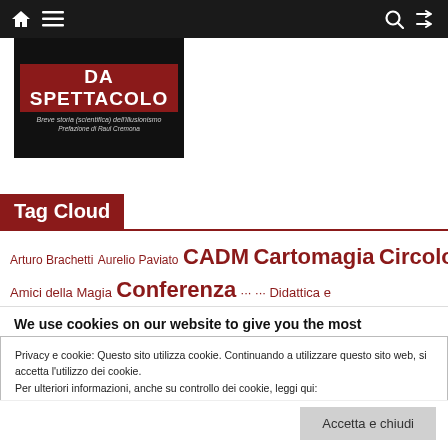Navigation bar with home, menu, search, shuffle icons
[Figure (illustration): Book cover showing 'DA SPETTACOLO' in dark background with subtitle 'Breve storia (scientifica) dell'illusionismo' and 'Prefazione di Raul Cremona']
Tag Cloud
Arturo Brachetti Aurelio Paviato CADM Cartomagia Circolo Amici della Magia Conferenza ... Didattica e ...
We use cookies on our website to give you the most
Privacy e cookie: Questo sito utilizza cookie. Continuando a utilizzare questo sito web, si accetta l'utilizzo dei cookie.
Per ulteriori informazioni, anche su controllo dei cookie, leggi qui:
Informativa sui cookie
Accetta e chiudi